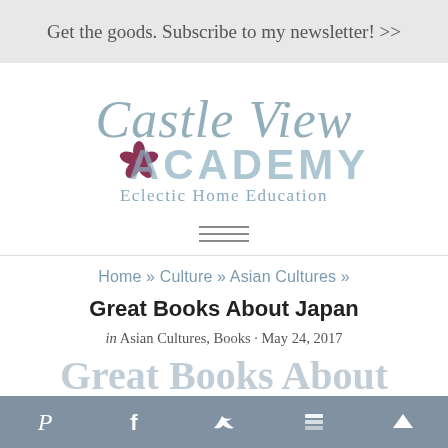Get the goods. Subscribe to my newsletter! >>
[Figure (logo): Castle View Academy logo with stylized text and cherry blossom icon. Subtitle: Eclectic Home Education]
[Figure (other): Hamburger menu icon (three horizontal lines)]
Home » Culture » Asian Cultures »
Great Books About Japan
in Asian Cultures, Books · May 24, 2017
Great Books About